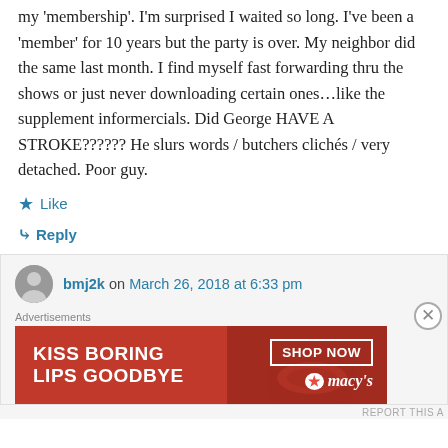my 'membership'. I'm surprised I waited so long. I've been a 'member' for 10 years but the party is over. My neighbor did the same last month. I find myself fast forwarding thru the shows or just never downloading certain ones…like the supplement informercials. Did George HAVE A STROKE?????? He slurs words / butchers clichés / very detached. Poor guy.
Like
Reply
bmj2k on March 26, 2018 at 6:33 pm
[Figure (other): Advertisement banner: KISS BORING LIPS GOODBYE, SHOP NOW, macys logo with star]